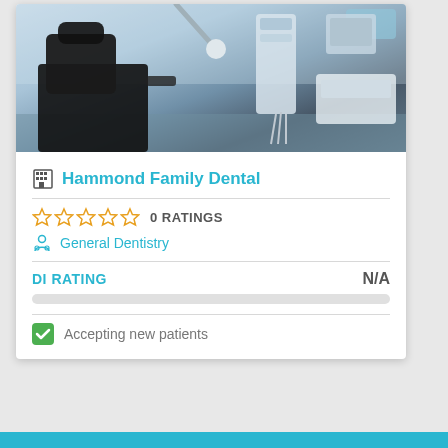[Figure (photo): Dental office interior showing a black dental chair and equipment on the right side with white dental tools and machinery]
Hammond Family Dental
0 RATINGS
General Dentistry
DI RATING  N/A
Accepting new patients